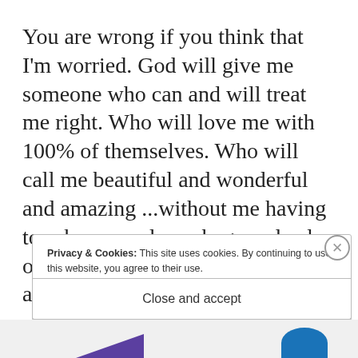You are wrong if you think that I'm worried. God will give me someone who can and will treat me right. Who will love me with 100% of themselves. Who will call me beautiful and wonderful and amazing ...without me having to ask or wonder or beg or plead or fight. Because my God is good and His way is right, and he has promised to take care of me, and I ... I ...
Privacy & Cookies: This site uses cookies. By continuing to use this website, you agree to their use.
To find out more, including how to control cookies, see here:
Cookie Policy
Close and accept